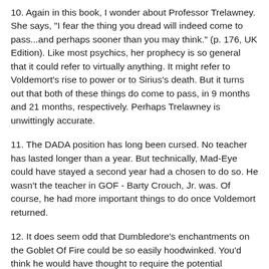10. Again in this book, I wonder about Professor Trelawney. She says, "I fear the thing you dread will indeed come to pass...and perhaps sooner than you may think." (p. 176, UK Edition). Like most psychics, her prophecy is so general that it could refer to virtually anything. It might refer to Voldemort's rise to power or to Sirius's death. But it turns out that both of these things do come to pass, in 9 months and 21 months, respectively. Perhaps Trelawney is unwittingly accurate.
11. The DADA position has long been cursed. No teacher has lasted longer than a year. But technically, Mad-Eye could have stayed a second year had a chosen to do so. He wasn't the teacher in GOF - Barty Crouch, Jr. was. Of course, he had more important things to do once Voldemort returned.
12. It does seem odd that Dumbledore's enchantments on the Goblet Of Fire could be so easily hoodwinked. You'd think he would have thought to require the potential champion to enter the name him/herself. Otherwise, what would have stopped dozens of students from getting an older